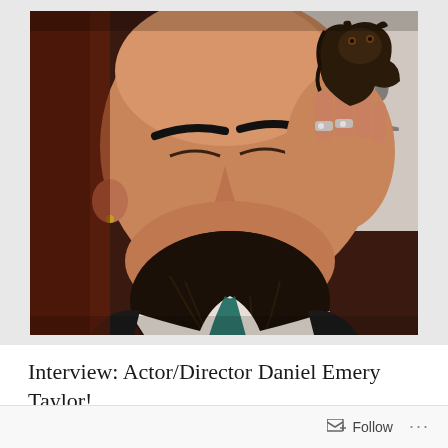[Figure (photo): A bald man with a large dark beard holding a dark bronze animal figurine (horse or panther) close to his face. He is wearing a white shirt and dark jacket. He has prominent eyebrows and rings on his fingers. The background appears to have a sign with letters 'IR' visible.]
Interview: Actor/Director Daniel Emery Taylor!
January 28, 2019